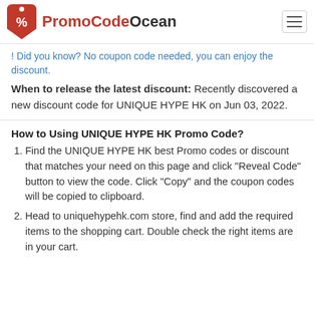PromoCodeOcean
! Did you know? No coupon code needed, you can enjoy the discount.
When to release the latest discount: Recently discovered a new discount code for UNIQUE HYPE HK on Jun 03, 2022.
How to Using UNIQUE HYPE HK Promo Code?
Find the UNIQUE HYPE HK best Promo codes or discount that matches your need on this page and click "Reveal Code" button to view the code. Click "Copy" and the coupon codes will be copied to clipboard.
Head to uniquehypehk.com store, find and add the required items to the shopping cart. Double check the right items are in your cart.